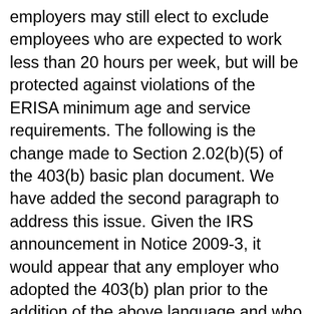employers may still elect to exclude employees who are expected to work less than 20 hours per week, but will be protected against violations of the ERISA minimum age and service requirements. The following is the change made to Section 2.02(b)(5) of the 403(b) basic plan document. We have added the second paragraph to address this issue. Given the IRS announcement in Notice 2009-3, it would appear that any employer who adopted the 403(b) plan prior to the addition of the above language and who selected the option to exclude employees who are expected to work less than 20 hours, may operationally comply with this requirement through the end of 2009. We have formatted the change to the 403(b) BPD so that the above amendment can be accomplished by substituting the new page for the old page in the BPD (i.e., the change does not affect any other